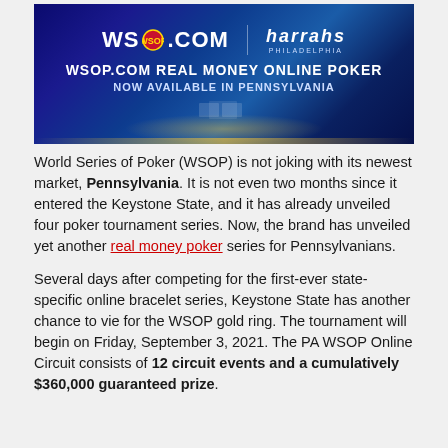[Figure (photo): WSOP.com and Harrah's Philadelphia banner advertisement — dark blue background with spotlights, text reading 'WSOP.COM REAL MONEY ONLINE POKER NOW AVAILABLE IN PENNSYLVANIA']
World Series of Poker (WSOP) is not joking with its newest market, Pennsylvania. It is not even two months since it entered the Keystone State, and it has already unveiled four poker tournament series. Now, the brand has unveiled yet another real money poker series for Pennsylvanians.
Several days after competing for the first-ever state-specific online bracelet series, Keystone State has another chance to vie for the WSOP gold ring. The tournament will begin on Friday, September 3, 2021. The PA WSOP Online Circuit consists of 12 circuit events and a cumulatively $360,000 guaranteed prize.